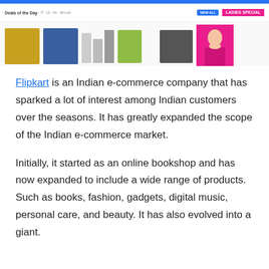[Figure (screenshot): Screenshot of Flipkart website showing Deals of the Day banner with product thumbnails and Ladies Special promotion]
Flipkart is an Indian e-commerce company that has sparked a lot of interest among Indian customers over the seasons. It has greatly expanded the scope of the Indian e-commerce market.
Initially, it started as an online bookshop and has now expanded to include a wide range of products. Such as books, fashion, gadgets, digital music, personal care, and beauty. It has also evolved into a giant.